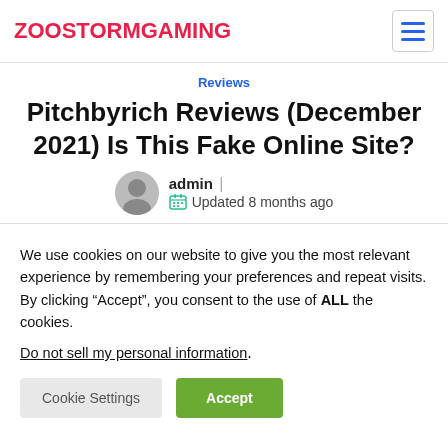ZOOSTORMGAMING
Reviews
Pitchbyrich Reviews (December 2021) Is This Fake Online Site?
admin | Updated 8 months ago
We use cookies on our website to give you the most relevant experience by remembering your preferences and repeat visits. By clicking “Accept”, you consent to the use of ALL the cookies.
Do not sell my personal information.
Cookie Settings | Accept